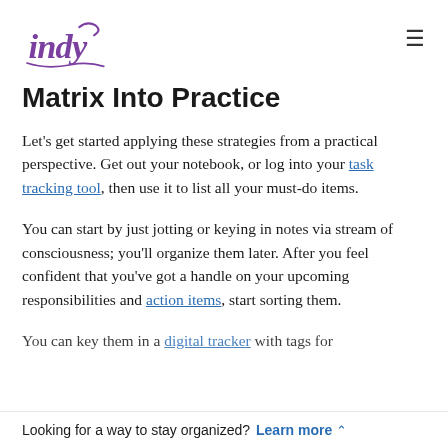indy [logo] [hamburger menu]
Matrix Into Practice
Let's get started applying these strategies from a practical perspective. Get out your notebook, or log into your task tracking tool, then use it to list all your must-do items.
You can start by just jotting or keying in notes via stream of consciousness; you'll organize them later. After you feel confident that you've got a handle on your upcoming responsibilities and action items, start sorting them.
You can key them in a digital tracker with tags for
Looking for a way to stay organized? Learn more ^